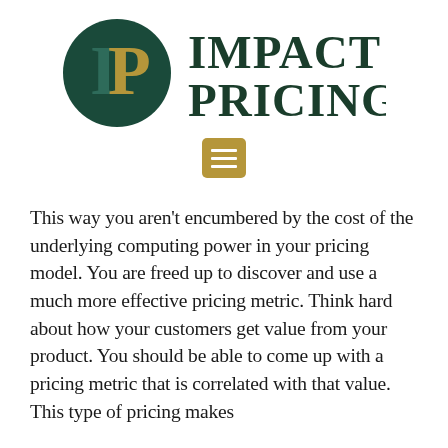[Figure (logo): Impact Pricing logo: dark green circle with 'IP' letters in serif font (I in dark green, P in gold/tan), next to bold dark green serif text reading 'IMPACT PRICING.' with a period]
[Figure (other): Gold/tan square menu icon with three horizontal white lines (hamburger menu button)]
This way you aren't encumbered by the cost of the underlying computing power in your pricing model. You are freed up to discover and use a much more effective pricing metric. Think hard about how your customers get value from your product. You should be able to come up with a pricing metric that is correlated with that value.  This type of pricing makes